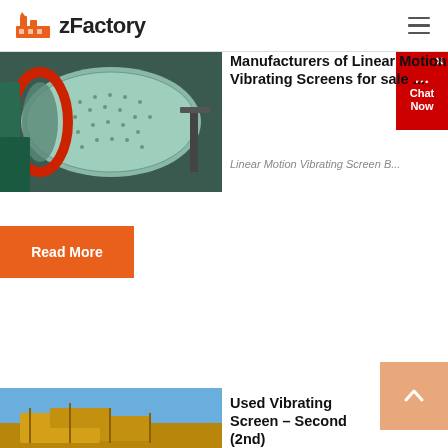[Figure (logo): zFactory logo with orange factory building icon and bold text 'zFactory']
[Figure (photo): Industrial ball mill or rotary drum machine, green cylindrical body with bolted panels, red ring, photographed in a factory setting]
Manufacturers of Linear Motion Vibrating Screens for sale ...
Linear Motion Vibrating Screen B...
Read More
[Figure (photo): Used vibrating screen machinery, yellow/orange equipment outdoors on blue sky background]
Used Vibrating Screen – Second (2nd)...